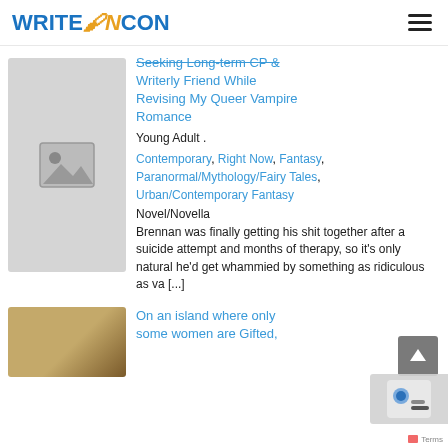WRITEONCON
Seeking Long-term CP & Writerly Friend While Revising My Queer Vampire Romance
Young Adult .
Contemporary, Right Now, Fantasy, Paranormal/Mythology/Fairy Tales, Urban/Contemporary Fantasy
Novel/Novella
Brennan was finally getting his shit together after a suicide attempt and months of therapy, so it's only natural he'd get whammied by something as ridiculous as va [...]
[Figure (photo): Placeholder image icon (grey background with mountain/image icon)]
On an island where only some women are Gifted,
[Figure (photo): Partial view of a second card with a brownish image]